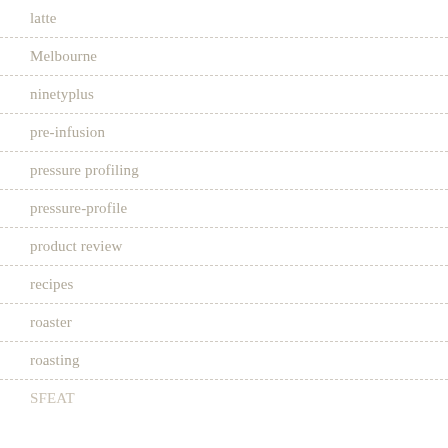latte
Melbourne
ninetyplus
pre-infusion
pressure profiling
pressure-profile
product review
recipes
roaster
roasting
SFEAT